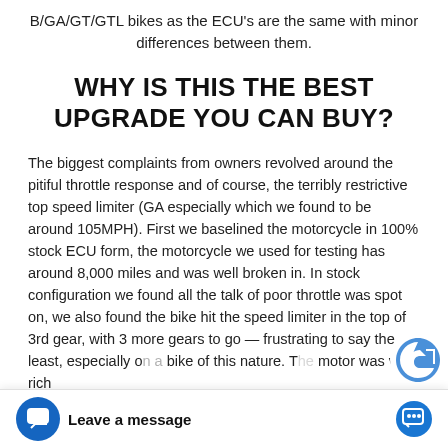B/GA/GT/GTL bikes as the ECU's are the same with minor differences between them.
WHY IS THIS THE BEST UPGRADE YOU CAN BUY?
The biggest complaints from owners revolved around the pitiful throttle response and of course, the terribly restrictive top speed limiter (GA especially which we found to be around 105MPH). First we baselined the motorcycle in 100% stock ECU form, the motorcycle we used for testing has around 8,000 miles and was well broken in. In stock configuration we found all the talk of poor throttle was spot on, we also found the bike hit the speed limiter in the top of 3rd gear, with 3 more gears to go — frustrating to say the least, especially on a bike of this nature. The motor was very rich
Leave a message